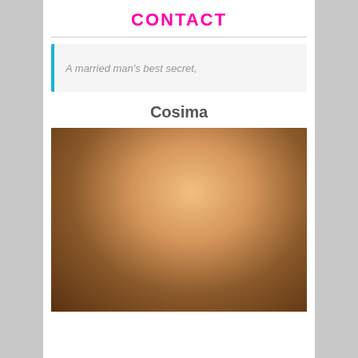CONTACT
A married man's best secret,
Cosima
[Figure (photo): A blonde woman in black lingerie posing in a room with wooden furniture and a green lamp]